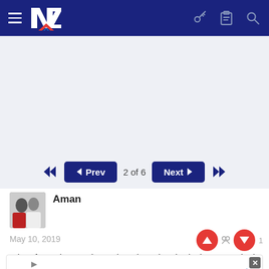[Figure (screenshot): Navigation bar with hamburger menu, NZ logo, key icon, clipboard icon, and search icon on dark blue background]
[Figure (screenshot): Pagination controls: double left arrow, Prev button, '2 of 6' text, Next button, double right arrow]
Aman
May 10, 2019
A lot of mentions on here about how the sharks keep on winning even
[Figure (screenshot): Advertisement banner: The Perfect Family Activity - Topgolf]